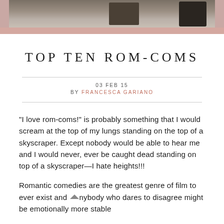[Figure (photo): A photograph of a desk or shelf with books and items, partially visible at the top of the page, shown as a cropped strip.]
TOP TEN ROM-COMS
03 FEB 15
BY FRANCESCA GARIANO
"I love rom-coms!" is probably something that I would scream at the top of my lungs standing on the top of a skyscraper. Except nobody would be able to hear me and I would never, ever be caught dead standing on top of a skyscraper—I hate heights!!!
Romantic comedies are the greatest genre of film to ever exist and anybody who dares to disagree might be emotionally more stable